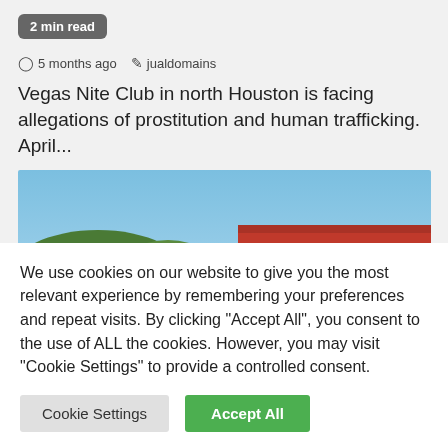2 min read
5 months ago  jualdomains
Vegas Nite Club in north Houston is facing allegations of prostitution and human trafficking. April...
[Figure (photo): Exterior photo of a building with a green storefront, beige archway, and red canopy/roof structure with vertical pillars, surrounded by trees under a blue sky.]
We use cookies on our website to give you the most relevant experience by remembering your preferences and repeat visits. By clicking "Accept All", you consent to the use of ALL the cookies. However, you may visit "Cookie Settings" to provide a controlled consent.
Cookie Settings   Accept All